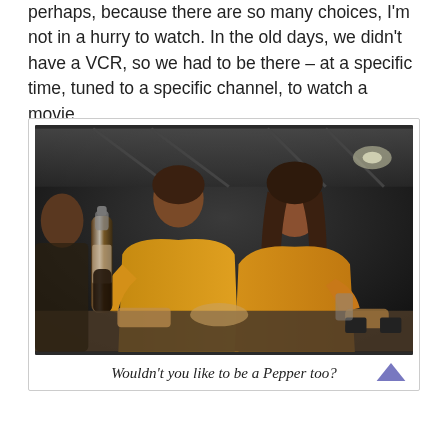perhaps, because there are so many choices, I'm not in a hurry to watch. In the old days, we didn't have a VCR, so we had to be there – at a specific time, tuned to a specific channel, to watch a movie.
[Figure (photo): A man and woman in yellow/gold sweatshirts sitting at a table. The man is holding a dark soda bottle, and both appear to be eating. A retro scene reminiscent of a 1970s-80s movie or TV show.]
Wouldn't you like to be a Pepper too?